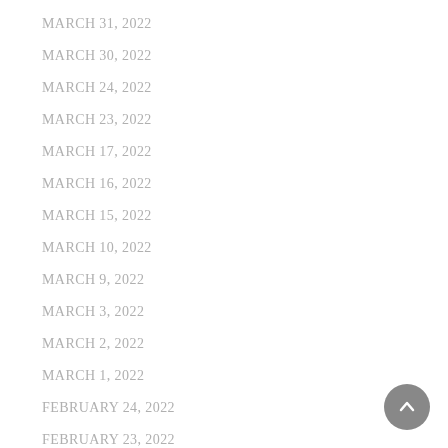MARCH 31, 2022
MARCH 30, 2022
MARCH 24, 2022
MARCH 23, 2022
MARCH 17, 2022
MARCH 16, 2022
MARCH 15, 2022
MARCH 10, 2022
MARCH 9, 2022
MARCH 3, 2022
MARCH 2, 2022
MARCH 1, 2022
FEBRUARY 24, 2022
FEBRUARY 23, 2022
FEBRUARY 17, 2022
FEBRUARY 16, 2022
FEBRUARY 15, 2022
FEBRUARY 10, 2022